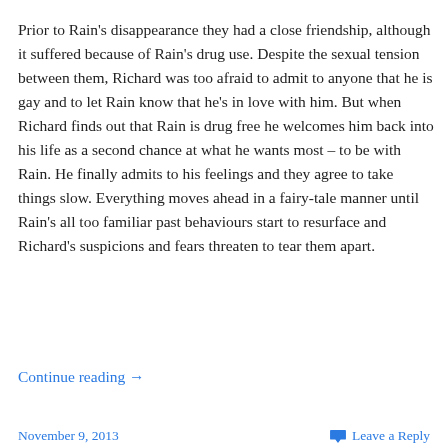Prior to Rain's disappearance they had a close friendship, although it suffered because of Rain's drug use. Despite the sexual tension between them, Richard was too afraid to admit to anyone that he is gay and to let Rain know that he's in love with him. But when Richard finds out that Rain is drug free he welcomes him back into his life as a second chance at what he wants most – to be with Rain. He finally admits to his feelings and they agree to take things slow. Everything moves ahead in a fairy-tale manner until Rain's all too familiar past behaviours start to resurface and Richard's suspicions and fears threaten to tear them apart.
Continue reading →
November 9, 2013   Leave a Reply